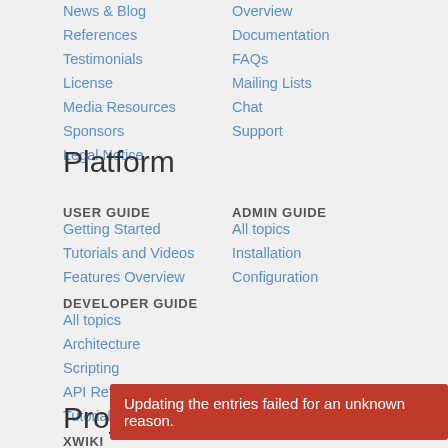News & Blog
References
Testimonials
License
Media Resources
Sponsors
Legal Notice
Overview
Documentation
FAQs
Mailing Lists
Chat
Support
Platform
USER GUIDE
Getting Started
Tutorials and Videos
Features Overview
ADMIN GUIDE
All topics
Installation
Configuration
DEVELOPER GUIDE
All topics
Architecture
Scripting
API Reference
Tutorials and Guides
Projects
XWIKI
Overview
All extensions
Updating the entries failed for an unknown reason.